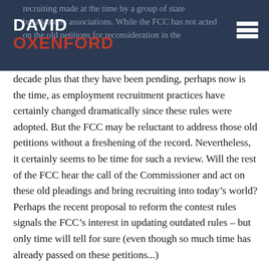DAVID OXENFORD [header bar with faded background text about recruiting made at the time by a group of state broadcasters associations. While the FCC has not acted on the old petitions for reconsideration in the]
decade plus that they have been pending, perhaps now is the time, as employment recruitment practices have certainly changed dramatically since these rules were adopted. But the FCC may be reluctant to address those old petitions without a freshening of the record. Nevertheless, it certainly seems to be time for such a review. Will the rest of the FCC hear the call of the Commissioner and act on these old pleadings and bring recruiting into today’s world? Perhaps the recent proposal to reform the contest rules signals the FCC’s interest in updating outdated rules – but only time will tell for sure (even though so much time has already passed on these petitions...)